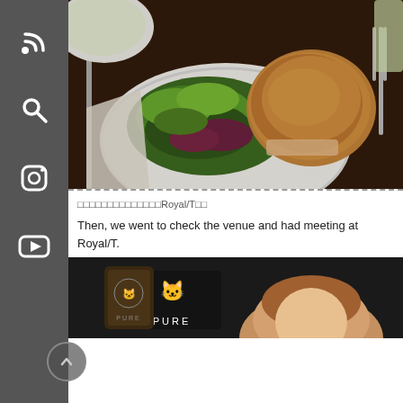[Figure (photo): Photo of a sandwich and salad on a white plate at a restaurant table]
□□□□□□□□□□□□□□Royal/T□□
Then, we went to check the venue and had meeting at Royal/T.
[Figure (photo): Photo of a person with Royal/T logo sign visible]